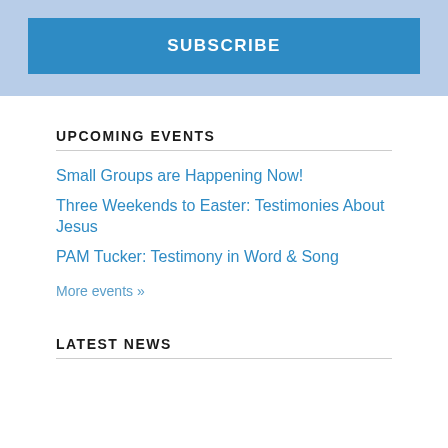SUBSCRIBE
UPCOMING EVENTS
Small Groups are Happening Now!
Three Weekends to Easter: Testimonies About Jesus
PAM Tucker: Testimony in Word & Song
More events »
LATEST NEWS